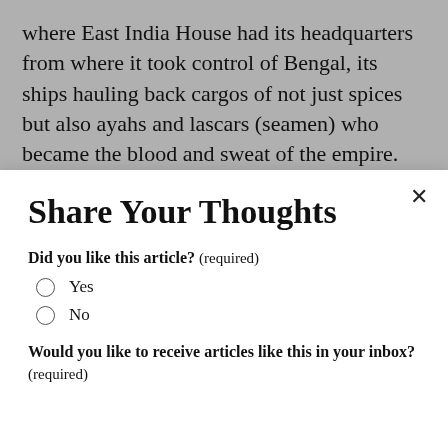where East India House had its headquarters from where it took control of Bengal, its ships hauling back cargos of not just spices but also ayahs and lascars (seamen) who became the blood and sweat of the empire. The archives in the old St. Botolph's Chapel...
Share Your Thoughts
Did you like this article? (required)
Yes
No
Would you like to receive articles like this in your inbox? (required)